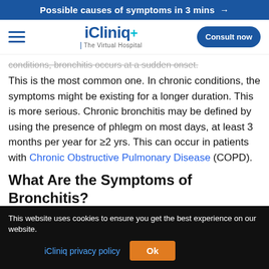Possible causes of symptoms in 3 mins →
[Figure (logo): iCliniq+ The Virtual Hospital logo with hamburger menu and Consult now button]
conditions, bronchitis occurs at a sudden onset.
This is the most common one. In chronic conditions, the symptoms might be existing for a longer duration. This is more serious. Chronic bronchitis may be defined by using the presence of phlegm on most days, at least 3 months per year for ≥2 yrs. This can occur in patients with Chronic Obstructive Pulmonary Disease (COPD).
What Are the Symptoms of Bronchitis?
This website uses cookies to ensure you get the best experience on our website. iCliniq privacy policy  Ok